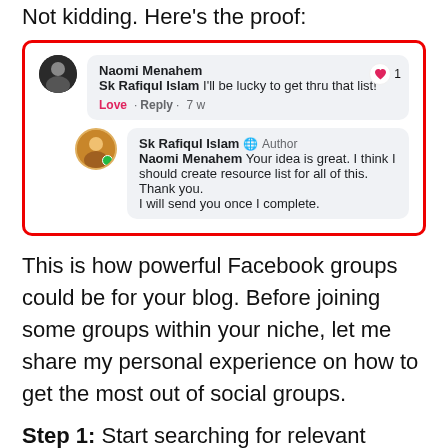Not kidding. Here's the proof:
[Figure (screenshot): Facebook comment thread in a red-bordered box. First comment by Naomi Menahem saying 'Sk Rafiqul Islam I'll be lucky to get thru that list!' with Love reaction, Reply, 7w. Second comment by Sk Rafiqul Islam (Author) replying 'Naomi Menahem Your idea is great. I think I should create resource list for all of this. Thank you. I will send you once I complete.']
This is how powerful Facebook groups could be for your blog. Before joining some groups within your niche, let me share my personal experience on how to get the most out of social groups.
Step 1: Start searching for relevant groups for